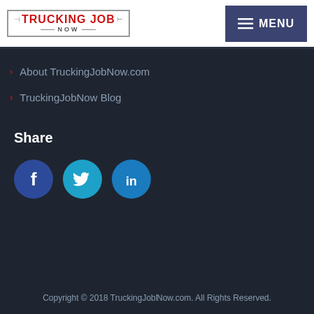[Figure (logo): Trucking Job Now logo in red text with border bracket design]
[Figure (other): Menu button with hamburger icon and MENU text on dark blue background]
About TruckingJobNow.com
TruckingJobNow Blog
Share
[Figure (other): Social media share icons: Facebook (blue circle with f), Twitter (light blue circle with bird), LinkedIn (blue circle with in)]
Copyright © 2018 TruckingJobNow.com. All Rights Reserved.